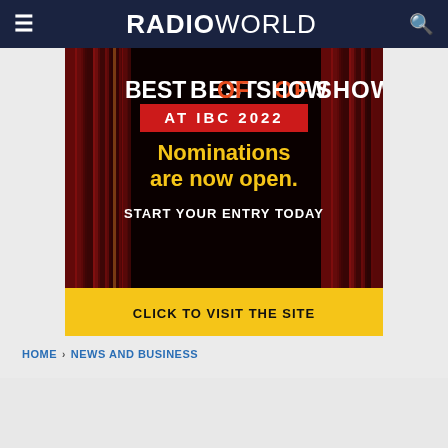RADIOWORLD
[Figure (screenshot): Best of Show at IBC 2022 advertisement banner. Dark background with curtain imagery. Text reads: BEST OF SHOW AT IBC 2022, Nominations are now open. START YOUR ENTRY TODAY. Yellow bar at bottom: CLICK TO VISIT THE SITE.]
HOME › NEWS AND BUSINESS